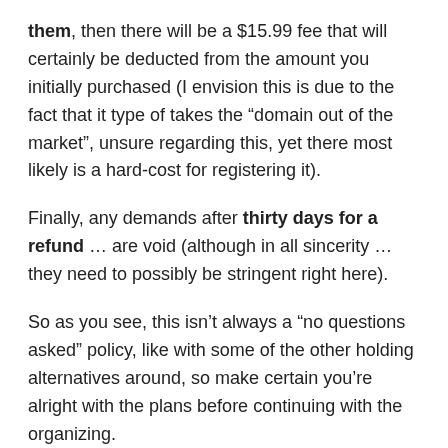them, then there will be a $15.99 fee that will certainly be deducted from the amount you initially purchased (I envision this is due to the fact that it type of takes the “domain out of the market”, unsure regarding this, yet there most likely is a hard-cost for registering it).
Finally, any demands after thirty days for a refund … are void (although in all sincerity … they need to possibly be stringent right here).
So as you see, this isn’t always a “no questions asked” policy, like with some of the other holding alternatives around, so make certain you’re alright with the plans before continuing with the organizing.
Learn More About Bluehost What Virus Software Can Check Your Website Here ->